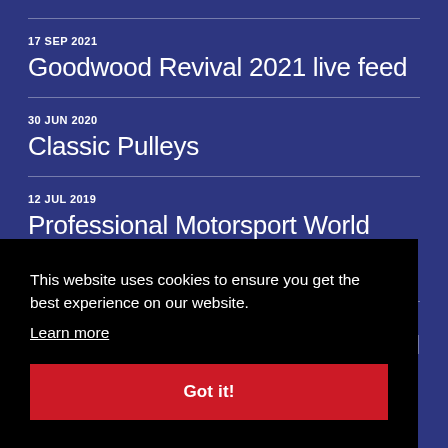17 SEP 2021
Goodwood Revival 2021 live feed
30 JUN 2020
Classic Pulleys
12 JUL 2019
Professional Motorsport World Expo 2019
30 APR 2015
[partial, obscured by cookie banner]
This website uses cookies to ensure you get the best experience on our website.
Learn more
Got it!